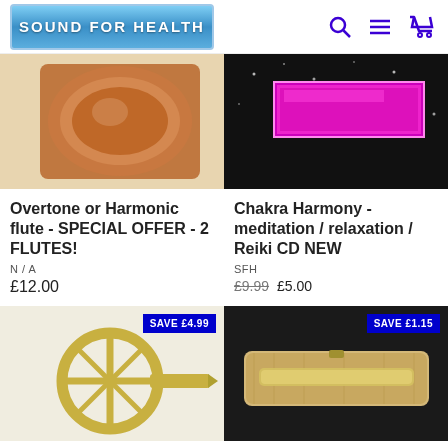[Figure (screenshot): Sound for Health website header with logo, search, menu, and cart icons]
[Figure (photo): Close-up of copper/wood flute end]
[Figure (photo): Chakra Harmony CD cover with purple/magenta banner on black background]
Overtone or Harmonic flute - SPECIAL OFFER - 2 FLUTES!
N/A
£12.00
Chakra Harmony - meditation / relaxation / Reiki CD NEW
SFH
£9.99  £5.00
[Figure (photo): Jaw harp / mouth harp gold colored instrument with SAVE £4.99 badge]
[Figure (photo): Wooden case with instrument inside on black background with SAVE £1.15 badge]